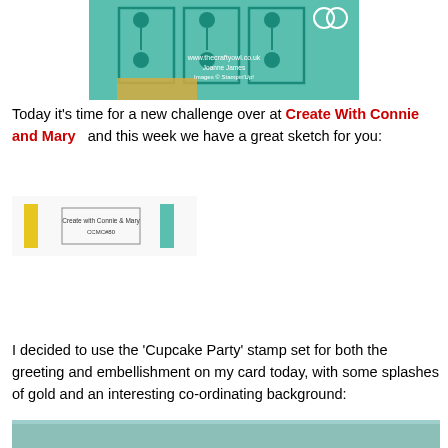[Figure (photo): Photo of a green crafting stamp/die set with teal circular and rectangular patterns, watermark text reading 'www.thecraftyowl.co.uk Joanne James Images © Stampin Up']
Today it's time for a new challenge over at Create With Connie and Mary   and this week we have a great sketch for you:
[Figure (illustration): Sketch image showing 'Create with Connie & Mary CCMC#80' with yellow and teal vertical bars and a center card sketch layout]
I decided to use the 'Cupcake Party' stamp set for both the greeting and embellishment on my card today, with some splashes of gold and an interesting co-ordinating background:
[Figure (photo): Bottom strip of a teal/mint colored card or background image, partially visible]